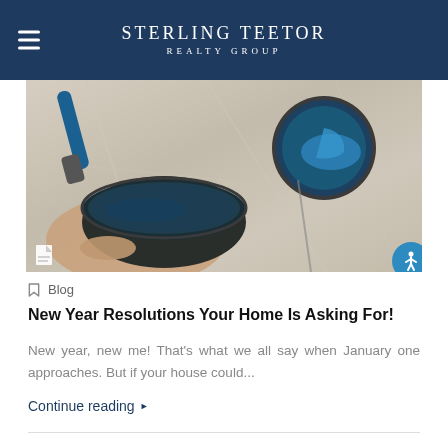STERLING TEETOR REALTY GROUP
[Figure (photo): Overhead view of open paint cans with blue paint and a paint roller on a plastic-covered surface]
Blog
New Year Resolutions Your Home Is Asking For!
New year, new me! That's what we all say when January one approaches. But if your house could...
Continue reading ▶